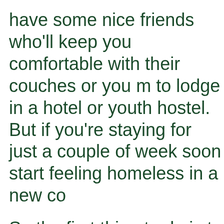have some nice friends who'll keep you comfortable with their couches or you may to lodge in a hotel or youth hostel. But if you're staying for just a couple of weeks, soon start feeling homeless in a new co
So the first thing to do is to do good research on standard and affordable places to stay in your country of abode. You'll need to look up classified, online resources, or contact agencies who can help you find the best stay.
While you may think of getting nice and accommodation in a big city and close